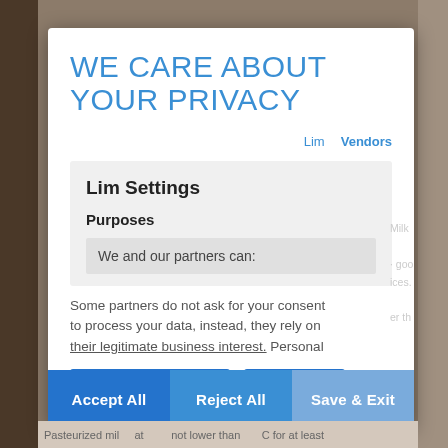WE CARE ABOUT YOUR PRIVACY
Lim   Vendors
Lim Settings
Purposes
We and our partners can:
Some partners do not ask for your consent to process your data, instead, they rely on their legitimate business interest. Personal
Manage Settings   Vendors
Accept All   Reject All   Save & Exit
Pasteurized mil... at not lower than ... C for at least